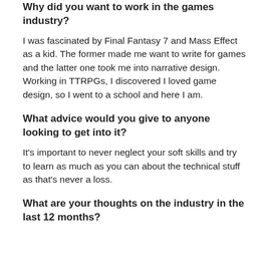recording sessions, and managing the soundbanks with the audio team.
Why did you want to work in the games industry?
I was fascinated by Final Fantasy 7 and Mass Effect as a kid. The former made me want to write for games and the latter one took me into narrative design. Working in TTRPGs, I discovered I loved game design, so I went to a school and here I am.
What advice would you give to anyone looking to get into it?
It's important to never neglect your soft skills and try to learn as much as you can about the technical stuff as that's never a loss.
What are your thoughts on the industry in the last 12 months?